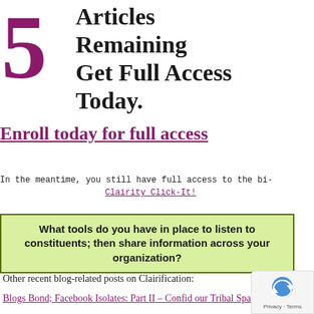5 Articles Remaining Get Full Access Today.
Enroll today for full access
In the meantime, you still have full access to the bi-
Clairity Click-It!
What tools do you have in place to listen to constituents; then share information across your organization?
Other recent blog-related posts on Clairification:
Blogs Bond; Facebook Isolates: Part II – Confid our Tribal Space